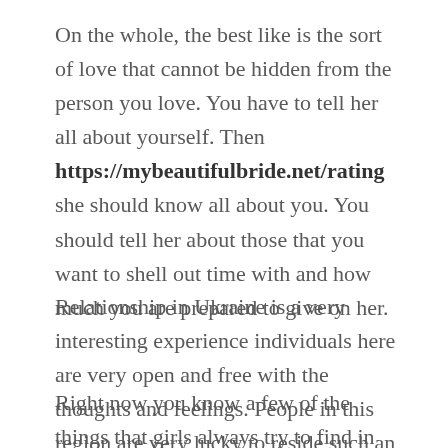On the whole, the best like is the sort of love that cannot be hidden from the person you love. You have to tell her all about yourself. Then https://mybeautifulbride.net/rating she should know all about you. You should tell her about those that you want to shell out time with and how much you are prepared to give on her.
Relationship in Ukraine is a very interesting experience individuals here are very open and free with the thoughts and feelings. People in this region are very lucky to reside such an open up and free society.
Right now you know a few of the things that girls always try to find in marriage in Ukraine. I think you're going to be happy with the result. It is your chance to demonstrate your honest love to a newly